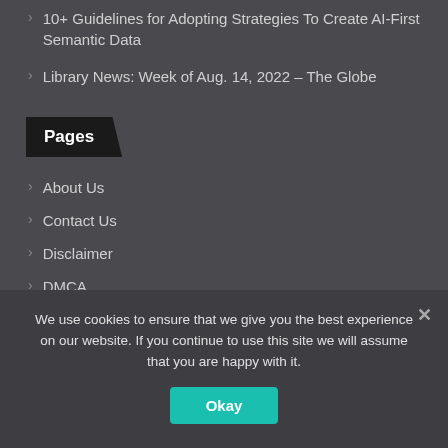10+ Guidelines for Adopting Strategies To Create AI-First Semantic Data
Library News: Week of Aug. 14, 2022 – The Globe
Pages
About Us
Contact Us
Disclaimer
DMCA
Home
Privacy Policy
We use cookies to ensure that we give you the best experience on our website. If you continue to use this site we will assume that you are happy with it.